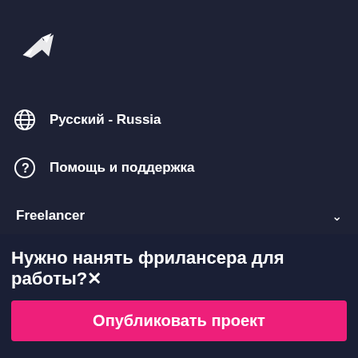[Figure (logo): Freelancer bird/hummingbird logo in white on dark background]
Русский - Russia
Помощь и поддержка
Freelancer
Нужно нанять фрилансера для работы?×
Опубликовать проект